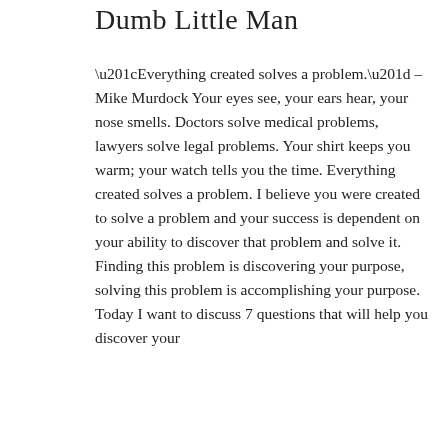Dumb Little Man
“Everything created solves a problem.” – Mike Murdock Your eyes see, your ears hear, your nose smells. Doctors solve medical problems, lawyers solve legal problems. Your shirt keeps you warm; your watch tells you the time. Everything created solves a problem. I believe you were created to solve a problem and your success is dependent on your ability to discover that problem and solve it. Finding this problem is discovering your purpose, solving this problem is accomplishing your purpose. Today I want to discuss 7 questions that will help you discover your